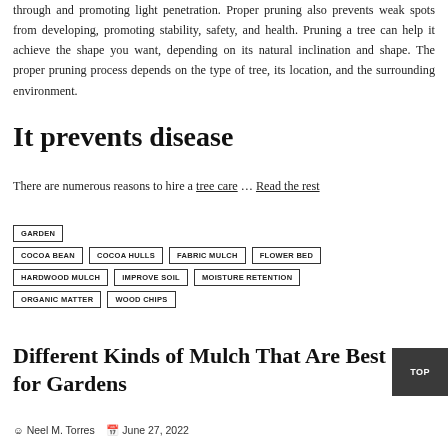through and promoting light penetration. Proper pruning also prevents weak spots from developing, promoting stability, safety, and health. Pruning a tree can help it achieve the shape you want, depending on its natural inclination and shape. The proper pruning process depends on the type of tree, its location, and the surrounding environment.
It prevents disease
There are numerous reasons to hire a tree care … Read the rest
GARDEN
COCOA BEAN
COCOA HULLS
FABRIC MULCH
FLOWER BED
HARDWOOD MULCH
IMPROVE SOIL
MOISTURE RETENTION
ORGANIC MATTER
WOOD CHIPS
Different Kinds of Mulch That Are Best for Gardens
Neel M. Torres  June 27, 2022